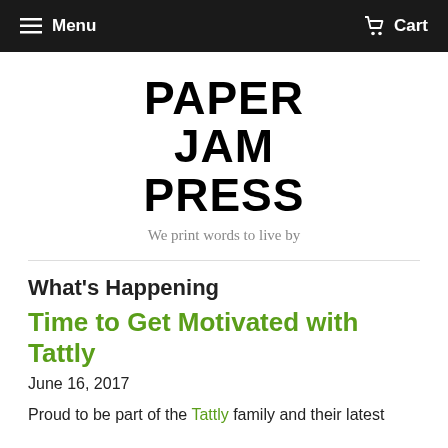Menu  Cart
[Figure (logo): Paper Jam Press logo — bold black stacked text reading PAPER JAM PRESS]
We print words to live by
What's Happening
Time to Get Motivated with Tattly
June 16, 2017
Proud to be part of the Tattly family and their latest